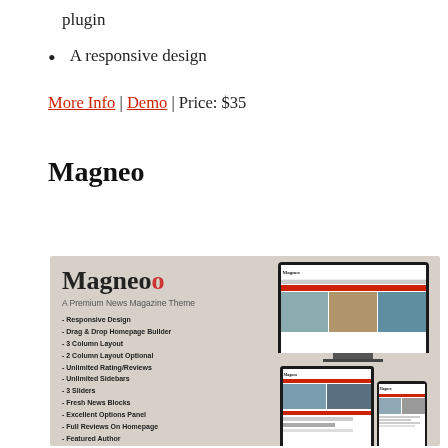plugin
A responsive design
More Info | Demo | Price: $35
Magneo
[Figure (screenshot): Magneo Premium News Magazine Theme promotional image showing logo, feature list, and device mockups (monitor, tablet, phone) displaying the theme.]